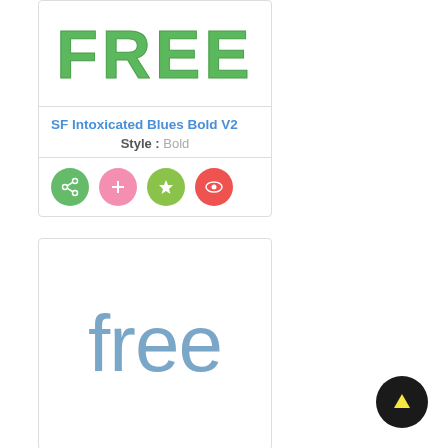[Figure (screenshot): Font preview card (top) showing 'FREE' text in green sketch style font]
SF Intoxicated Blues Bold V2
Style : Bold
[Figure (other): Action buttons: share (green), add (pink), star (lime green), view (red/orange) — all circular icon buttons]
[Figure (screenshot): Font preview card (bottom) showing 'free' text in steel blue sans-serif font]
[Figure (other): Back to top button — black circle with yellow upward arrow]